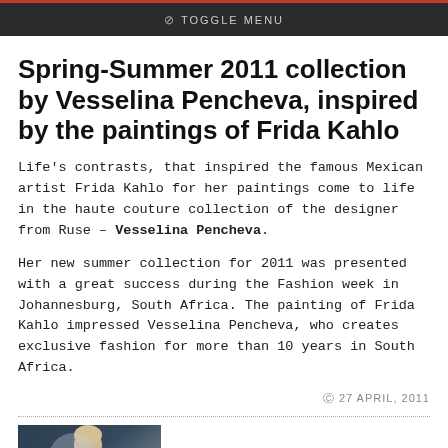TOGGLE MENU
Spring-Summer 2011 collection by Vesselina Pencheva, inspired by the paintings of Frida Kahlo
Life's contrasts, that inspired the famous Mexican artist Frida Kahlo for her paintings come to life in the haute couture collection of the designer from Ruse – Vesselina Pencheva.
Her new summer collection for 2011 was presented with a great success during the Fashion week in Johannesburg, South Africa. The painting of Frida Kahlo impressed Vesselina Pencheva, who creates exclusive fashion for more than 10 years in South Africa.
27 APRIL, 2011
[Figure (photo): Fashion model in dark clothing on runway]